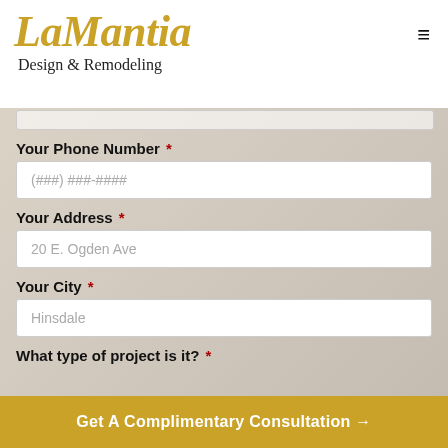LaMantia Design & Remodeling
Your Phone Number *
(###) ###-####
Your Address *
20 E. Ogden Ave
Your City *
Hinsdale
What type of project is it? *
Get A Complimentary Consultation →